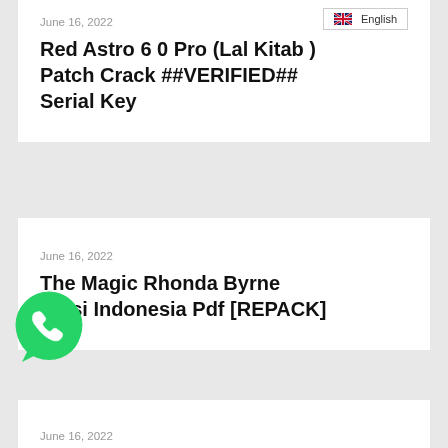English
June 16, 2022
Red Astro 6 0 Pro (Lal Kitab ) Patch Crack ##VERIFIED## Serial Key
June 16, 2022
The Magic Rhonda Byrne Versi Indonesia Pdf [REPACK]
[Figure (logo): WhatsApp green phone icon]
June 16, 2022